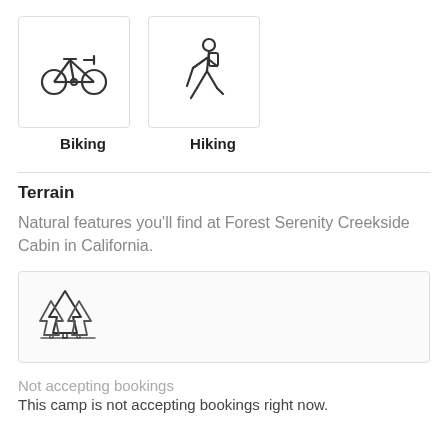[Figure (illustration): Two icon boxes side by side: a bicycle icon labeled Biking, and a hiker icon labeled Hiking]
Terrain
Natural features you'll find at Forest Serenity Creekside Cabin in California.
[Figure (illustration): A box containing a forest/trees icon representing woodland terrain]
Not accepting bookings
This camp is not accepting bookings right now.